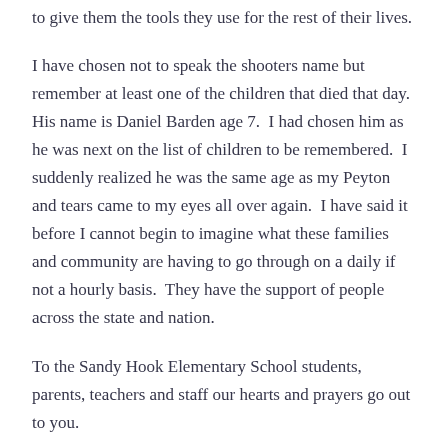to give them the tools they use for the rest of their lives.
I have chosen not to speak the shooters name but remember at least one of the children that died that day.  His name is Daniel Barden age 7.  I had chosen him as he was next on the list of children to be remembered.  I suddenly realized he was the same age as my Peyton and tears came to my eyes all over again.  I have said it before I cannot begin to imagine what these families and community are having to go through on a daily if not a hourly basis.  They have the support of people across the state and nation.
To the Sandy Hook Elementary School students, parents, teachers and staff our hearts and prayers go out to you.
CATEGORIES  JANUARY 2013
TAGS  SCHOOL